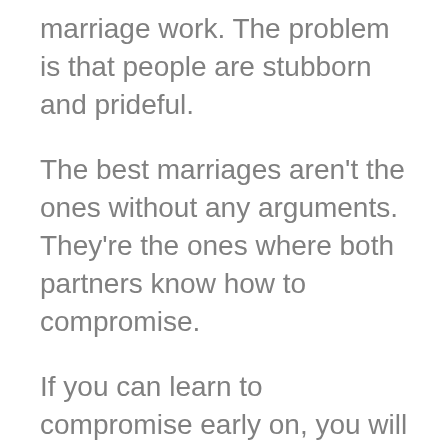marriage work. The problem is that people are stubborn and prideful.
The best marriages aren't the ones without any arguments. They're the ones where both partners know how to compromise.
If you can learn to compromise early on, you will avoid many arguments.
If one partner always imposes their will on the other, the relationship will fail. As each of you has a different set of expectations. Both of